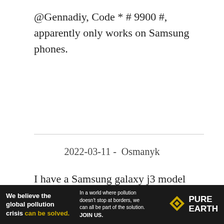@Gennadiy, Code * # 9900 #, apparently only works on Samsung phones.
2022-03-11 -  Osmanyk
I have a Samsung galaxy j3 model sm-j327h. Android version 7.0 puts 4G on display and it's actually not even 3G. Can you activate 3G or 4G with this model?
[Figure (screenshot): Video player overlay showing 'No compatible source was found for this media.' message with scrollbar]
[Figure (infographic): Pure Earth advertisement banner: 'We believe the global pollution crisis can be solved.' with text about pollution and JOIN US call to action.]